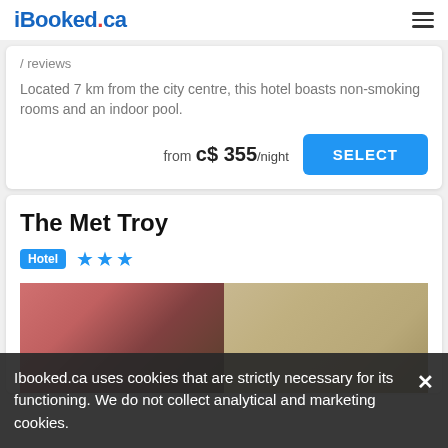iBooked.ca
/ reviews
Located 7 km from the city centre, this hotel boasts non-smoking rooms and an indoor pool.
from c$ 355/night
SELECT
The Met Troy
Hotel ★★★
[Figure (photo): Interior lobby photos of The Met Troy hotel, showing reception area with pink/red walls on the left and a cream-colored corridor on the right.]
Ibooked.ca uses cookies that are strictly necessary for its functioning. We do not collect analytical and marketing cookies.